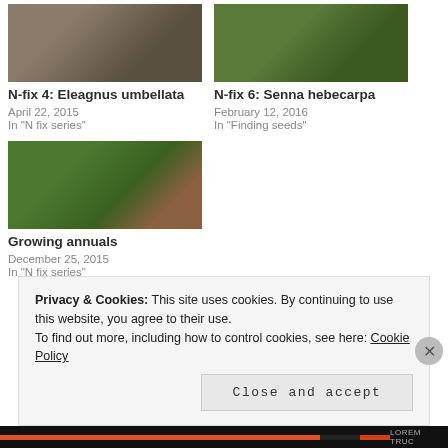[Figure (photo): Hand holding dark stones/seeds against gravel ground]
N-fix 4: Eleagnus umbellata
April 22, 2015
In "N fix series"
[Figure (photo): Green leafy plant with yellow flowers outdoors]
N-fix 6: Senna hebecarpa
February 12, 2016
In "Finding seeds"
[Figure (photo): Garden with annuals growing, green plants and soil visible]
Growing annuals
December 25, 2015
In "N fix series"
Privacy & Cookies: This site uses cookies. By continuing to use this website, you agree to their use.
To find out more, including how to control cookies, see here: Cookie Policy